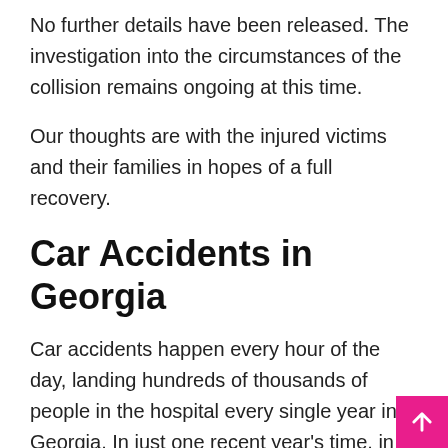No further details have been released. The investigation into the circumstances of the collision remains ongoing at this time.
Our thoughts are with the injured victims and their families in hopes of a full recovery.
Car Accidents in Georgia
Car accidents happen every hour of the day, landing hundreds of thousands of people in the hospital every single year in Georgia. In just one recent year’s time, in fact, over 116,000 people were hurt in car accidents due to the outright recklessness of others. These accidents happen